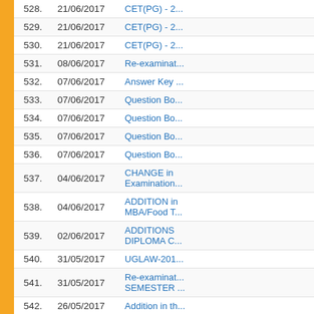| No. | Date | Title |
| --- | --- | --- |
| 528. | 21/06/2017 | CET(PG) - 2... |
| 529. | 21/06/2017 | CET(PG) - 2... |
| 530. | 21/06/2017 | CET(PG) - 2... |
| 531. | 08/06/2017 | Re-examina... |
| 532. | 07/06/2017 | Answer Key... |
| 533. | 07/06/2017 | Question Bo... |
| 534. | 07/06/2017 | Question Bo... |
| 535. | 07/06/2017 | Question Bo... |
| 536. | 07/06/2017 | Question Bo... |
| 537. | 04/06/2017 | CHANGE in Examination... |
| 538. | 04/06/2017 | ADDITION in MBA/Food T... |
| 539. | 02/06/2017 | ADDITIONS DIPLOMA C... |
| 540. | 31/05/2017 | UGLAW-201... |
| 541. | 31/05/2017 | Re-examina... SEMESTER... |
| 542. | 26/05/2017 | Addition in th... |